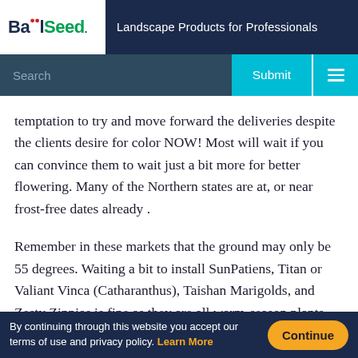Ball Seed. Landscape Products for Professionals
Search
temptation to try and move forward the deliveries despite the clients desire for color NOW! Most will wait if you can convince them to wait just a bit more for better flowering. Many of the Northern states are at, or near frost-free dates already .
Remember in these markets that the ground may only be 55 degrees. Waiting a bit to install SunPatiens, Titan or Valiant Vinca (Catharanthus), Taishan Marigolds, and Zesty Zinnias is fine as they are all warm-season plants. Don't be shocked that they may take a while to fill in if planted early.
By continuing through this website you accept our terms of use and privacy policy. Learn More  Continue